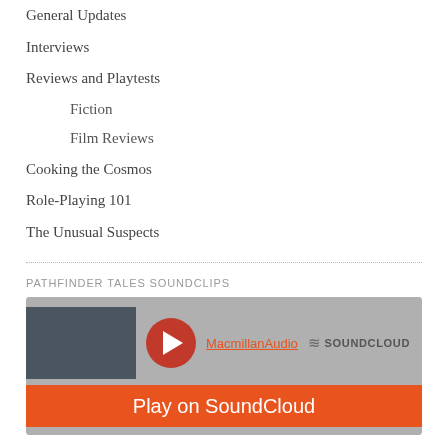General Updates
Interviews
Reviews and Playtests
Fiction
Film Reviews
Cooking the Cosmos
Role-Playing 101
The Unusual Suspects
PATHFINDER TALES SOUNDCLIPS
[Figure (screenshot): SoundCloud embedded player widget showing MacmillanAudio with a play button, 'Play on SoundCloud' orange bar, and 'Listen in browser' button]